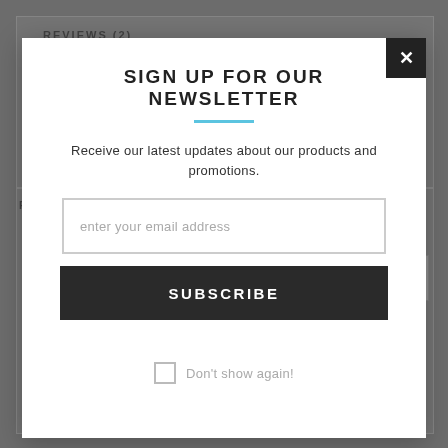REVIEWS (2)
[Figure (screenshot): Greyed-out background webpage showing a reviews section with product images at the bottom, overlaid by a newsletter signup modal popup]
SIGN UP FOR OUR NEWSLETTER
Receive our latest updates about our products and promotions.
enter your email address
SUBSCRIBE
Don't show again!